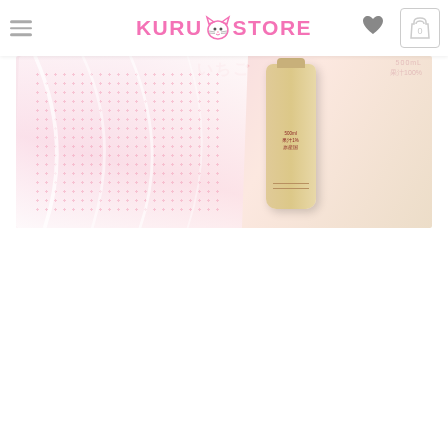KURU STORE (with cat logo, hamburger menu, heart icon, cart icon showing 0)
[Figure (photo): Product photo showing what appears to be a Japanese/Asian beverage product (bottle labeled 500ml, 果汁1%) alongside pink/white fabric or packaging material with polka dot pattern, in pink and beige tones]